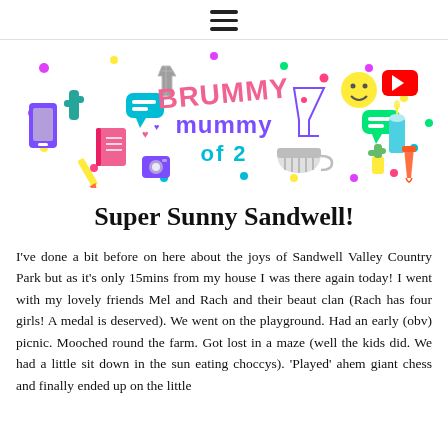☰
[Figure (logo): Brummy Mummy of 2 blog logo with colorful cartoon icons including cactus, phone, notebook, t-shirt, chat bubble, martini glass, emoji, YouTube icon, candle, takeaway cup around the text 'BRUMMY mummy of 2' in pink, purple and teal lettering with colorful dots.]
Super Sunny Sandwell!
I've done a bit before on here about the joys of Sandwell Valley Country Park but as it's only 15mins from my house I was there again today! I went with my lovely friends Mel and Rach and their beaut clan (Rach has four girls! A medal is deserved). We went on the playground. Had an early (obv) picnic. Mooched round the farm. Got lost in a maze (well the kids did. We had a little sit down in the sun eating choccys). 'Played' ahem giant chess and finally ended up on the little